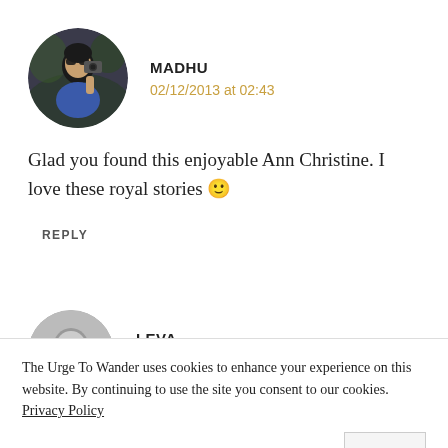[Figure (photo): Circular avatar photo of Madhu — a woman with sunglasses holding a camera outdoors]
MADHU
02/12/2013 at 02:43
Glad you found this enjoyable Ann Christine. I love these royal stories 🙂
REPLY
[Figure (photo): Circular avatar photo of Leva — partial view, greyscale]
LEVA
The Urge To Wander uses cookies to enhance your experience on this website. By continuing to use the site you consent to our cookies. Privacy Policy
OK
REPLY